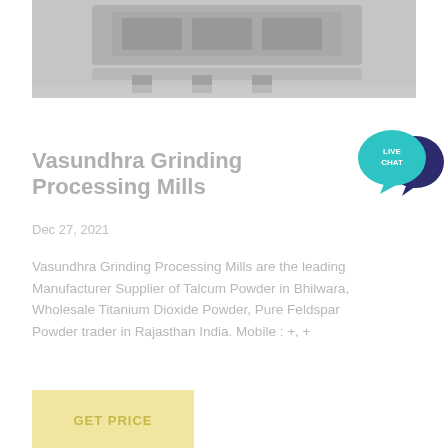[Figure (photo): Industrial grinding machine or mill equipment, photographed from above, grayish tones]
[Figure (other): Live Chat badge — teal speech bubble with 'LIVE CHAT' text and dark blue chat bubble icon]
Vasundhra Grinding Processing Mills
Dec 27, 2021
Vasundhra Grinding Processing Mills are the leading Manufacturer Supplier of Talcum Powder in Bhilwara, Wholesale Titanium Dioxide Powder, Pure Feldspar Powder trader in Rajasthan India. Mobile : +, +
GET PRICE